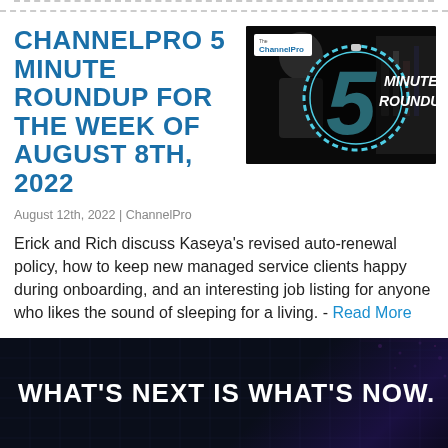CHANNELPRO 5 MINUTE ROUNDUP FOR THE WEEK OF AUGUST 8TH, 2022
[Figure (screenshot): ChannelPro 5 Minute Roundup video thumbnail with stopwatch graphic and two hosts]
August 12th, 2022 | ChannelPro
Erick and Rich discuss Kaseya’s revised auto-renewal policy, how to keep new managed service clients happy during onboarding, and an interesting job listing for anyone who likes the sound of sleeping for a living. - Read More
WHAT’S NEXT IS WHAT’S NOW.